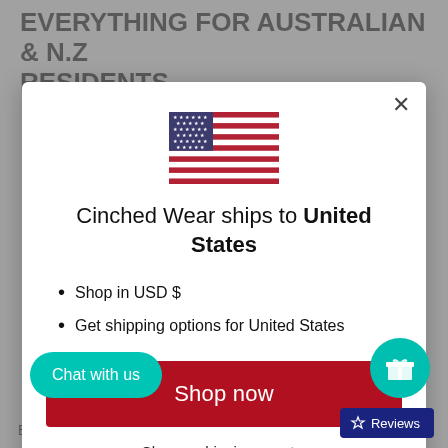EVERYTHING FOR AUSTRALIAN & N.Z RESIDENTS
[Figure (screenshot): Modal popup showing US flag and shipping information for Cinched Wear to United States. Contains bullet points: 'Shop in USD $' and 'Get shipping options for United States', a red 'Shop now' button, and a 'Change shipping country' link.]
Cinched Wear ships to United States
Shop in USD $
Get shipping options for United States
Shop now
Change shipping country
Chat with us
Reviews
Barnard tank top is designed perfect